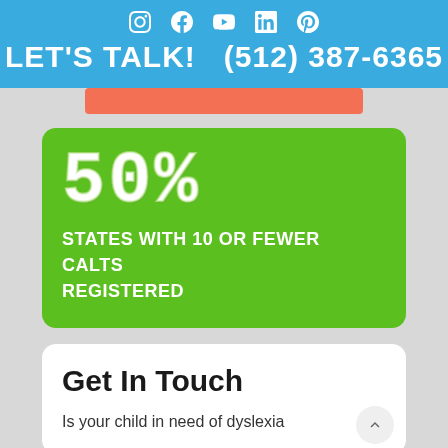LET'S TALK!  (512) 387-6365
[Figure (infographic): Green card showing '50%' in large chalk-style white text with subtitle 'STATES WITH 10 OR FEWER CALTS REGISTERED']
Get In Touch
Is your child in need of dyslexia